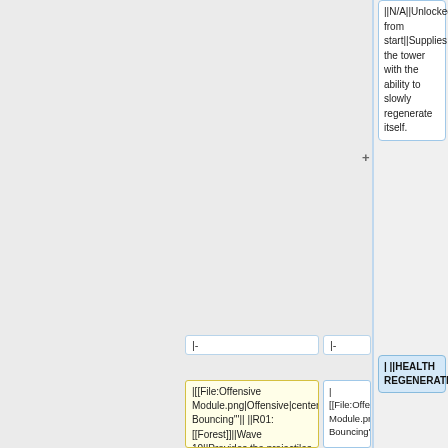||N/A||Unlocked from start||Supplies the tower with the ability to slowly regenerate itself.
| ||HEALTH REGENERATION
|-
|-
|[[File:Offensive Module.png|Offensive|center|30px]]||'''Basic Bouncing'''|| ||R01: [[Forest]]||Wave 10||Provides the projectiles a chance to
|[[File:Offensive Module.png|Offensive|center|30px]]||'''Basic Bouncing'''